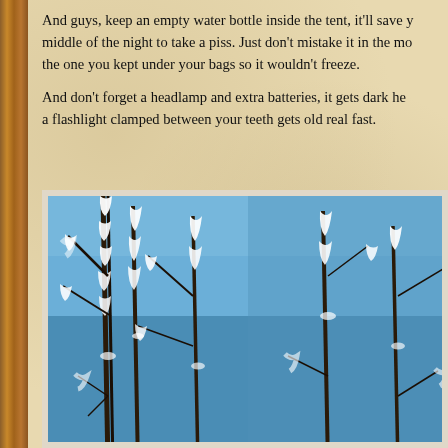And guys, keep an empty water bottle inside the tent, it'll save you from getting up in the middle of the night to take a piss. Just don't mistake it in the morning for the one you kept under your bags so it wouldn't freeze.
And don't forget a headlamp and extra batteries, it gets dark here early, and holding a flashlight clamped between your teeth gets old real fast.
[Figure (photo): Close-up photograph of snow-covered bare tree branches against a blue sky, with white frost/snow crystals clinging to dark twigs.]